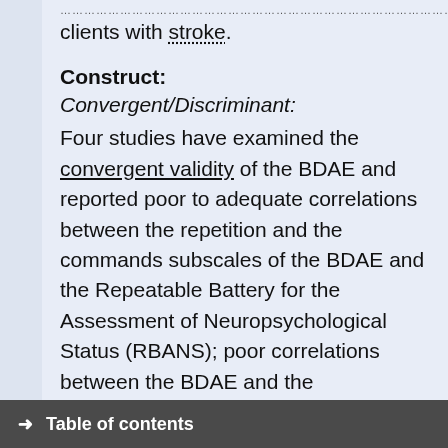clients with stroke.
Construct:
Convergent/Discriminant:
Four studies have examined the convergent validity of the BDAE and reported poor to adequate correlations between the repetition and the commands subscales of the BDAE and the Repeatable Battery for the Assessment of Neuropsychological Status (RBANS); poor correlations between the BDAE and the Visuospatial Index of the RBANS and adequate correlations between the BDAE and
→ Table of contents